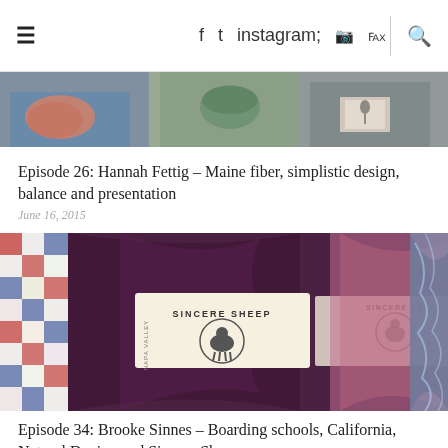≡  f  t  ⊡  ⊕  ℞  🔍
[Figure (photo): Partial view of three people holding knitting/fiber items, cropped photo at top of article listing]
Episode 26: Hannah Fettig – Maine fiber, simplistic design, balance and presentation
June 16, 2015
[Figure (photo): Close-up photo of dark purple/maroon yarn skeins with Sincere Sheep Napa Valley labels, alongside lighter pink yarn and a textured blue item on the right edge]
Episode 34: Brooke Sinnes – Boarding schools, California, Natural Dyeing and Sincere Sheep